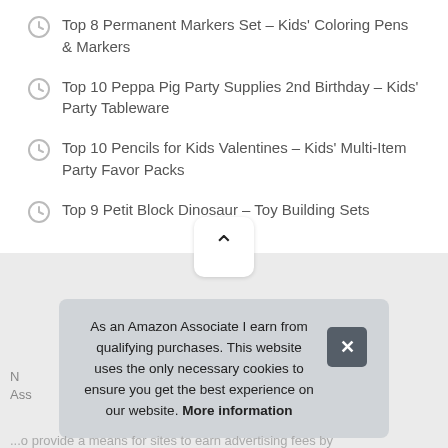Top 8 Permanent Markers Set – Kids' Coloring Pens & Markers
Top 10 Peppa Pig Party Supplies 2nd Birthday – Kids' Party Tableware
Top 10 Pencils for Kids Valentines – Kids' Multi-Item Party Favor Packs
Top 9 Petit Block Dinosaur – Toy Building Sets
As an Amazon Associate I earn from qualifying purchases. This website uses the only necessary cookies to ensure you get the best experience on our website. More information
N... Ass...
...o provide a means for sites to earn advertising fees by